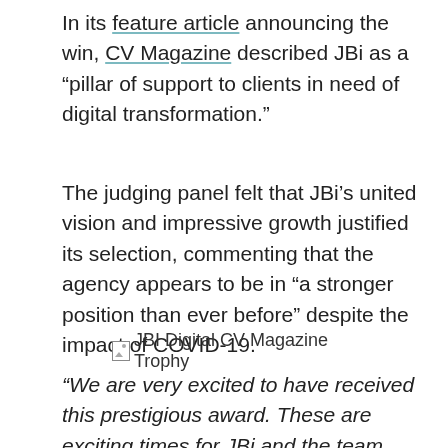In its feature article announcing the win, CV Magazine described JBi as a "pillar of support to clients in need of digital transformation."
The judging panel felt that JBi's united vision and impressive growth justified its selection, commenting that the agency appears to be in "a stronger position than ever before" despite the impact of COVID-19.
[Figure (photo): Image placeholder showing JBI Digital CV Magazine Trophy]
“We are very excited to have received this prestigious award. These are exciting times for JBi and the team deserves huge credit for our recent successes, which have reaffirmed our commitment to take a collaborative approach to each